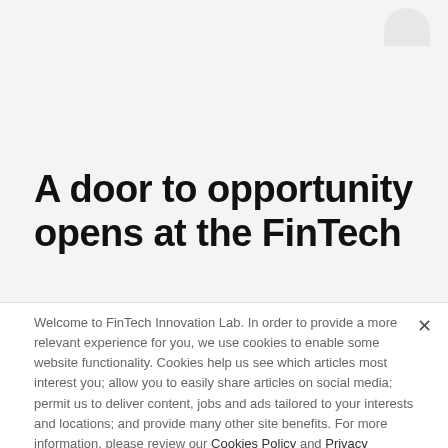[Figure (logo): Partial circular logo shape in top right corner]
A door to opportunity opens at the FinTech
Welcome to FinTech Innovation Lab. In order to provide a more relevant experience for you, we use cookies to enable some website functionality. Cookies help us see which articles most interest you; allow you to easily share articles on social media; permit us to deliver content, jobs and ads tailored to your interests and locations; and provide many other site benefits. For more information, please review our Cookies Policy and Privacy Statement.